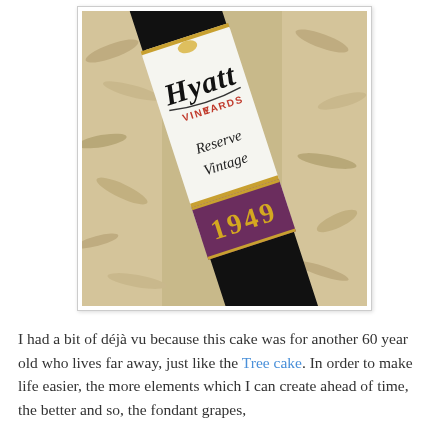[Figure (photo): A wine bottle labeled 'Hyatt Vineyards Reserve Vintage 1949' lying in wood shavings/packing material. The bottle has a white label with black script lettering for 'Hyatt', red text 'VINE YARDS', cursive 'Reserve Vintage', and a purple/maroon band showing '1949' in gold numerals.]
I had a bit of déjà vu because this cake was for another 60 year old who lives far away, just like the Tree cake. In order to make life easier, the more elements which I can create ahead of time, the better and so, the fondant grapes,